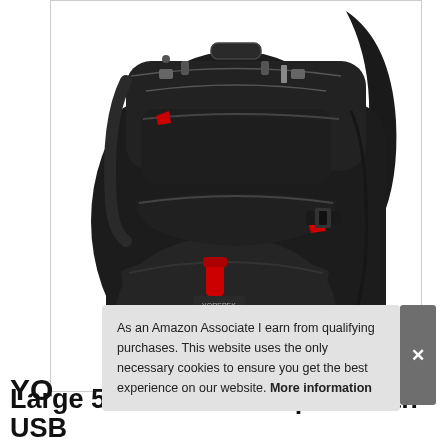[Figure (photo): Black travel backpack with red accents and zippers, multiple compartments, ergonomic design, YOREPEK brand label visible]
As an Amazon Associate I earn from qualifying purchases. This website uses the only necessary cookies to ensure you get the best experience on our website. More information
YO
Large 55L Travel Backpack with USB